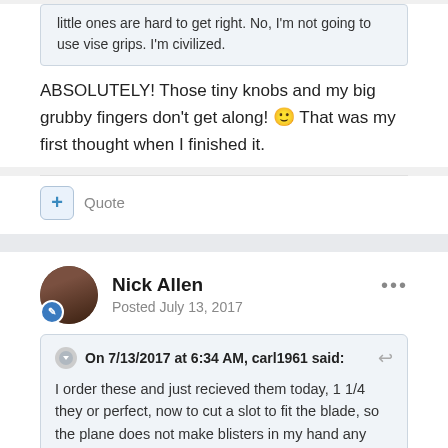little ones are hard to get right. No, I'm not going to use vise grips. I'm civilized.
ABSOLUTELY! Those tiny knobs and my big grubby fingers don't get along! 🙂 That was my first thought when I finished it.
Quote
Nick Allen
Posted July 13, 2017
On 7/13/2017 at 6:34 AM, carl1961 said:
I order these and just recieved them today, 1 1/4  they or perfect, now to cut a slot to fit the blade, so the plane does not make blisters in my hand any more!